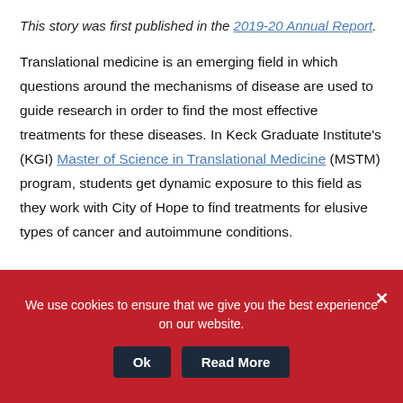This story was first published in the 2019-20 Annual Report.
Translational medicine is an emerging field in which questions around the mechanisms of disease are used to guide research in order to find the most effective treatments for these diseases. In Keck Graduate Institute's (KGI) Master of Science in Translational Medicine (MSTM) program, students get dynamic exposure to this field as they work with City of Hope to find treatments for elusive types of cancer and autoimmune conditions.
We use cookies to ensure that we give you the best experience on our website.